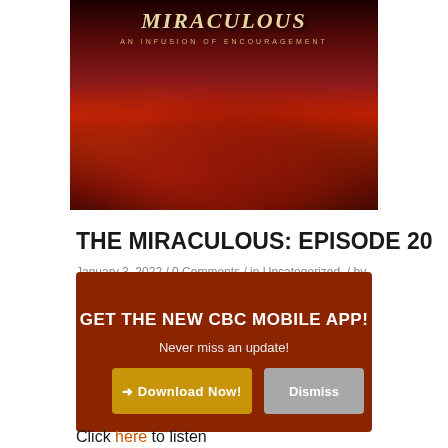[Figure (photo): Book cover image for 'The Miraculous: An Infusion of Encouragement' showing large red text title over dramatic dark red cloudy sky]
THE MIRACULOUS: EPISODE 20
January 3, 2022 / 0 Comments / in Uncategorized / by
GET THE NEW CBC MOBILE APP!
Never miss an update!
➜ Download Now!
Dismiss
Click here to listen